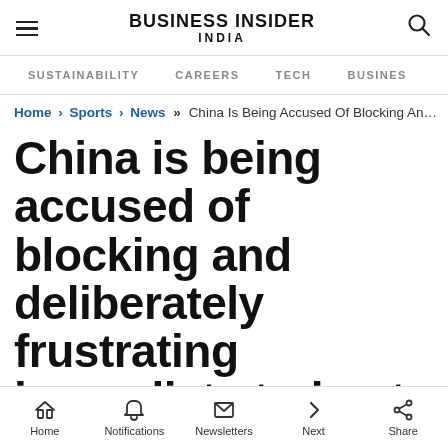BUSINESS INSIDER INDIA
SUSTAINABILITY   CAREERS   TECH   BUSINESS
Home › Sports › News » China Is Being Accused Of Blocking An…
China is being accused of blocking and deliberately frustrating journalists trying to cover the Winter Olympics in Beijing
Home  Notifications  Newsletters  Next  Share